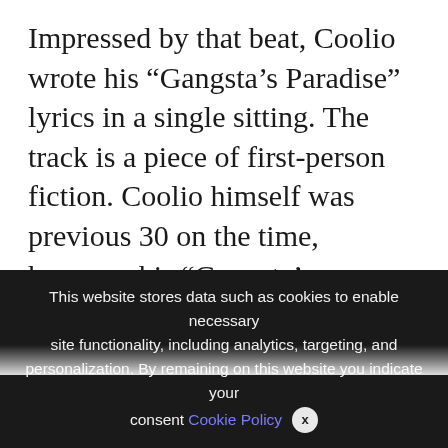Impressed by that beat, Coolio wrote his “Gangsta’s Paradise” lyrics in a single sitting. The track is a piece of first-person fiction. Coolio himself was previous 30 on the time, however his “Gangsta’s Paradise” narrator is 23, and he doesn’t know if he’ll stay to see 24. He sees dying throughout him, and he is aware of that his recklessness has alienated all of the folks in his life. He’s been blasting
We use cookies on our website to give you the most relevant experience by remembering your preferences and repeat visits. By clicking “Accept All”, you consent to the use of ALL the controlled consent.
This website stores data such as cookies to enable necessary site functionality, including analytics, targeting, and personalization. By remaining on this website you indicate your consent Cookie Policy